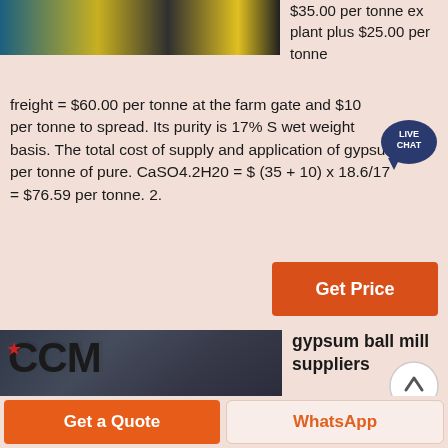[Figure (photo): Industrial facility or plant equipment image at the top left]
$35.00 per tonne ex plant plus $25.00 per tonne freight = $60.00 per tonne at the farm gate and $10 per tonne to spread. Its purity is 17% S wet weight basis. The total cost of supply and application of gypsum per tonne of pure. CaSO4.2H20 = $ (35 + 10) x 18.6/17 = $76.59 per tonne. 2.
[Figure (other): Live Chat speech bubble icon]
Get Price
[Figure (photo): CCM industrial ball mill machinery photograph]
gypsum ball mill suppliers
A wide variety of ball mill for gypsum options are available to
Get a Quote
WhatsApp